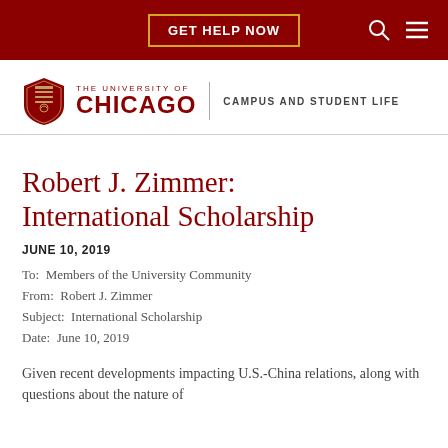GET HELP NOW
[Figure (logo): The University of Chicago Campus and Student Life logo with shield emblem]
Robert J. Zimmer: International Scholarship
JUNE 10, 2019
To:  Members of the University Community
From:  Robert J. Zimmer
Subject:  International Scholarship
Date:  June 10, 2019
Given recent developments impacting U.S.-China relations, along with questions about the nature of